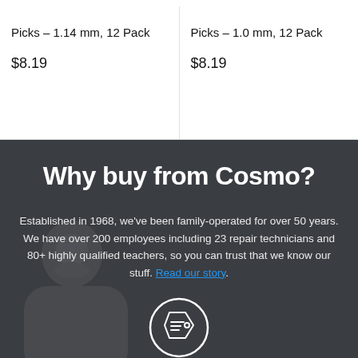Picks – 1.14 mm, 12 Pack
$8.19
Picks – 1.0 mm, 12 Pack
$8.19
Why buy from Cosmo?
Established in 1968, we've been family-operated for over 50 years. We have over 200 employees including 23 repair technicians and 80+ highly qualified teachers, so you can trust that we know our stuff. Read our story.
[Figure (illustration): Circular icon with a hand/tag symbol, white outline on dark background]